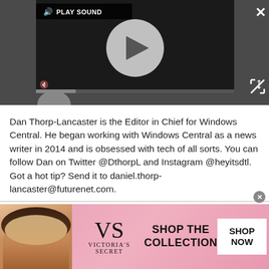[Figure (screenshot): Video player with play button, speaker/mute icon, play sound label, and progress bar on dark background]
Dan Thorp-Lancaster is the Editor in Chief for Windows Central. He began working with Windows Central as a news writer in 2014 and is obsessed with tech of all sorts. You can follow Dan on Twitter @DthorpL and Instagram @heyitsdtl. Got a hot tip? Send it to daniel.thorp-lancaster@futurenet.com.
[Figure (photo): Victoria's Secret advertisement with woman, VS logo, 'SHOP THE COLLECTION' text, and 'SHOP NOW' button on pink background]